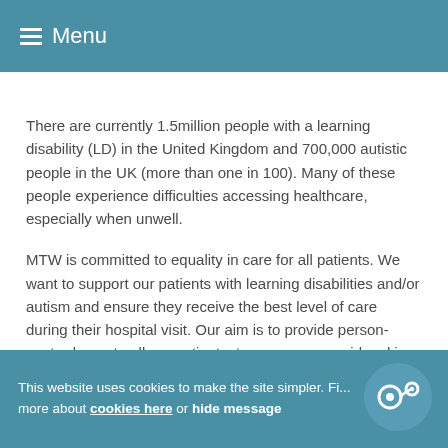≡ Menu
There are currently 1.5million people with a learning disability (LD) in the United Kingdom and 700,000 autistic people in the UK (more than one in 100). Many of these people experience difficulties accessing healthcare, especially when unwell.
MTW is committed to equality in care for all patients. We want to support our patients with learning disabilities and/or autism and ensure they receive the best level of care during their hospital visit. Our aim is to provide person-centred care to all our patients, to ensure we avoid making assumptions about patients and listen to them and their families.
To support this approach the Trust has launched a campaign that aims to help better understand autism and
This website uses cookies to make the site simpler. Fi... more about cookies here or hide message